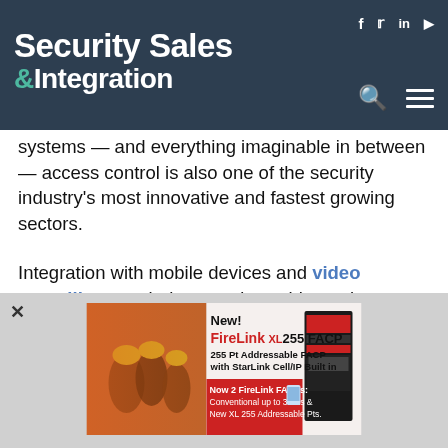Security Sales & Integration
systems — and everything imaginable in between — access control is also one of the security industry's most innovative and fastest growing sectors.
Integration with mobile devices and video surveillance, wireless products, biometrics, smart locks, and Cloud-based hosted and managed services are just some of the advances stoking the fire of this red-hot market.
[Figure (screenshot): Advertisement for FireLink XL 255 FACP by FireLink, showing firefighters and product image. Text: New! FireLink XL 255 FACP. 255 Pt Addressable FACP with StarLink Cell/IP Built in. Now 2 FireLink FACPs: Conventional up to 32Pts & New XL 255 Addressable Pts.]